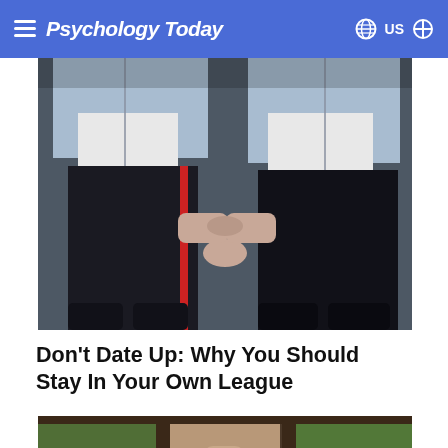Psychology Today
[Figure (photo): Two people holding hands, both wearing light blue denim jackets and black pants, standing against a dark wall]
Don't Date Up: Why You Should Stay In Your Own League
[Figure (photo): Person near a window with trees visible outside, partial view]